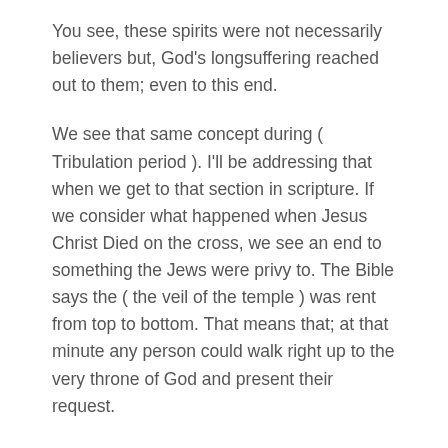You see, these spirits were not necessarily believers but, God's longsuffering reached out to them; even to this end.
We see that same concept during ( Tribulation period ). I'll be addressing that when we get to that section in scripture. If we consider what happened when Jesus Christ Died on the cross, we see an end to something the Jews were privy to. The Bible says the ( the veil of the temple ) was rent from top to bottom. That means that; at that minute any person could walk right up to the very throne of God and present their request.
It's so much to see and learn about the whole word of God. I can't say it all. However, we must understand that God's desire was to open the door of salvation to all men. As we see this unfold, that is exactly what he is doing. Do